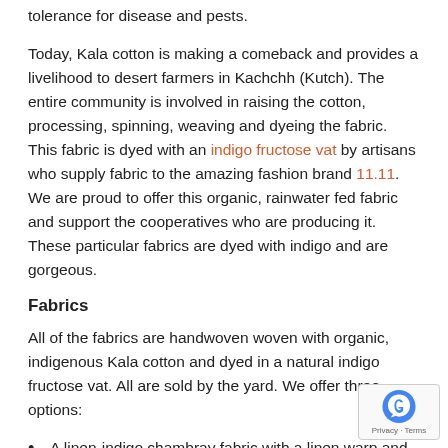tolerance for disease and pests.
Today, Kala cotton is making a comeback and provides a livelihood to desert farmers in Kachchh (Kutch). The entire community is involved in raising the cotton, processing, spinning, weaving and dyeing the fabric. This fabric is dyed with an indigo fructose vat by artisans who supply fabric to the amazing fashion brand 11.11. We are proud to offer this organic, rainwater fed fabric and support the cooperatives who are producing it. These particular fabrics are dyed with indigo and are gorgeous.
Fabrics
All of the fabrics are handwoven woven with organic, indigenous Kala cotton and dyed in a natural indigo fructose vat. All are sold by the yard. We offer three options:
A linen-indigo chambray fabric with a linen warp and handspun indigo dyed weft. This is a medium weight crisp fabric with a beautiful slub and shading from fibers. It is approximately 39 inches wide. Perfect light jackets and mid-weight garments.